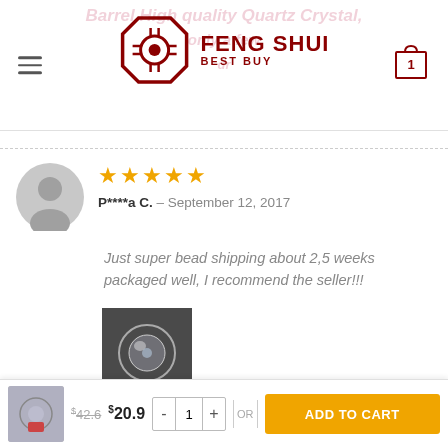[Figure (logo): Feng Shui Best Buy logo with octagon symbol]
P****a C. – September 12, 2017
Just super bead shipping about 2,5 weeks packaged well, I recommend the seller!!!
[Figure (photo): Photo of a crystal/glass sphere bead]
$42.6  $20.9  -  1  +  OR  ADD TO CART